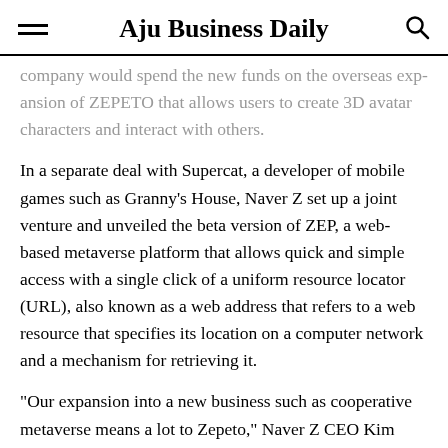Aju Business Daily
company would spend the new funds on the overseas expansion of ZEPETO that allows users to create 3D avatar characters and interact with others.
In a separate deal with Supercat, a developer of mobile games such as Granny’s House, Naver Z set up a joint venture and unveiled the beta version of ZEP, a web-based metaverse platform that allows quick and simple access with a single click of a uniform resource locator (URL), also known as a web address that refers to a web resource that specifies its location on a computer network and a mechanism for retrieving it.
“Our expansion into a new business such as cooperative metaverse means a lot to Zepeto,” Naver Z CEO Kim Dae-wook said in a statement. “We will build a more comprehensi